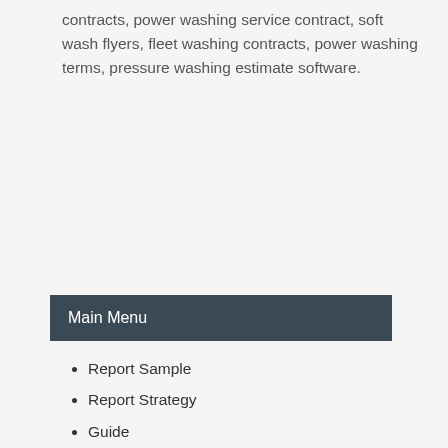contracts, power washing service contract, soft wash flyers, fleet washing contracts, power washing terms, pressure washing estimate software.
Main Menu
Report Sample
Report Strategy
Guide